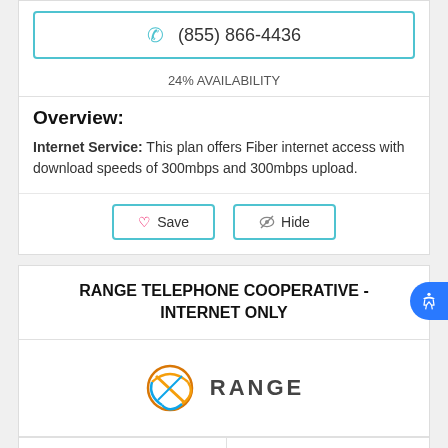(855) 866-4436
24% AVAILABILITY
Overview:
Internet Service: This plan offers Fiber internet access with download speeds of 300mbps and 300mbps upload.
Save   Hide
RANGE TELEPHONE COOPERATIVE - INTERNET ONLY
[Figure (logo): Range logo with orange and blue globe icon and text RANGE]
$60.00